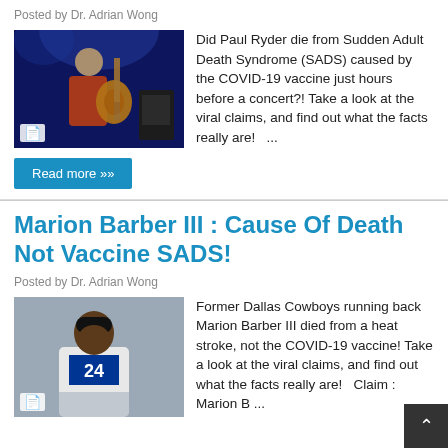Posted by Dr. Adrian Wong
[Figure (photo): Man playing electric guitar on stage with blue stage lighting]
Did Paul Ryder die from Sudden Adult Death Syndrome (SADS) caused by the COVID-19 vaccine just hours before a concert?! Take a look at the viral claims, and find out what the facts really are!   ...
Read more »»
Marion Barber III : Cause Of Death Not Vaccine SADS!
Posted by Dr. Adrian Wong
[Figure (photo): Marion Barber III in Dallas Cowboys uniform]
Former Dallas Cowboys running back Marion Barber III died from a heat stroke, not the COVID-19 vaccine! Take a look at the viral claims, and find out what the facts really are!   Claim : Marion B ...